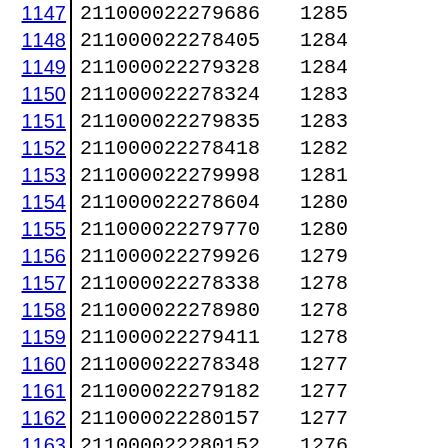| Row | ID | Score |
| --- | --- | --- |
| 1147 | 211000022279686 | 1285 |
| 1148 | 211000022278405 | 1284 |
| 1149 | 211000022279328 | 1284 |
| 1150 | 211000022278324 | 1283 |
| 1151 | 211000022279835 | 1283 |
| 1152 | 211000022278418 | 1282 |
| 1153 | 211000022279998 | 1281 |
| 1154 | 211000022278604 | 1280 |
| 1155 | 211000022279770 | 1280 |
| 1156 | 211000022279926 | 1279 |
| 1157 | 211000022278338 | 1278 |
| 1158 | 211000022278980 | 1278 |
| 1159 | 211000022279411 | 1278 |
| 1160 | 211000022278348 | 1277 |
| 1161 | 211000022279182 | 1277 |
| 1162 | 211000022280157 | 1277 |
| 1163 | 211000022280152 | 1276 |
| 1164 | 211000022279708 | 1275 |
| 1165 | 211000022279805 | 1275 |
| 1166 | 211000022279656 | 1274 |
| 1167 | 211000022280262 | 1274 |
| 1168 | 211000022278356 | 1272 |
| 1169 | 211000022278856 | 1271 |